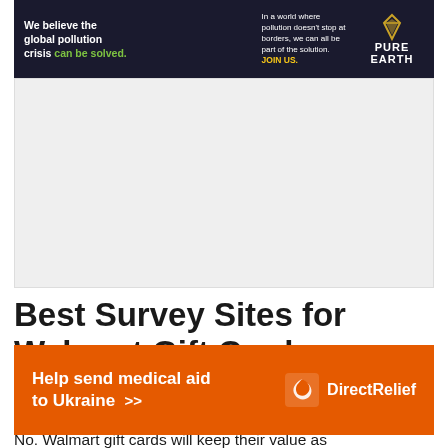[Figure (infographic): Pure Earth charity ad banner: dark background with text 'We believe the global pollution crisis can be solved.' in white and green, plus 'In a world where pollution doesn't stop at borders, we can all be part of the solution. JOIN US.' and Pure Earth logo with diamond icon]
[Figure (other): Large blank/grey advertisement placeholder box]
Best Survey Sites for Walmart Gift Cards – FAQs
Do Walmart gift cards expire?
No. Walmart gift cards will keep their value as
[Figure (infographic): Orange Direct Relief ad banner: 'Help send medical aid to Ukraine >>' with Direct Relief logo (white bird/leaf icon) on orange background]